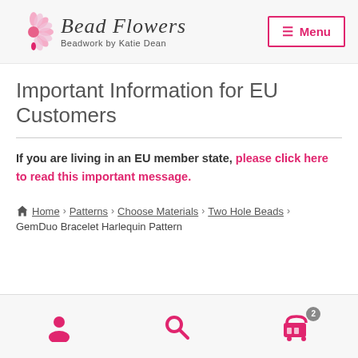[Figure (logo): Bead Flowers logo with pink flower and script text 'Bead Flowers - Beadwork by Katie Dean']
Important Information for EU Customers
If you are living in an EU member state, please click here to read this important message.
Home › Patterns › Choose Materials › Two Hole Beads › GemDuo Bracelet Harlequin Pattern
Footer navigation icons: account, search, cart (2)